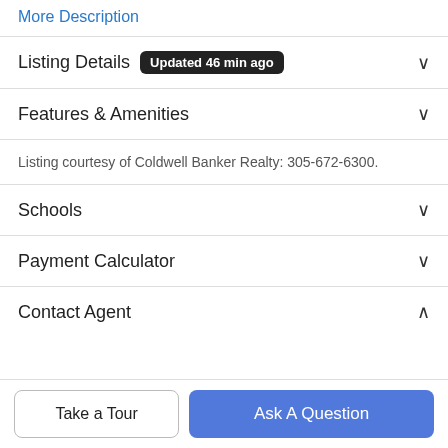More Description
Listing Details  Updated 46 min ago
Features & Amenities
Listing courtesy of Coldwell Banker Realty: 305-672-6300.
Schools
Payment Calculator
Contact Agent
Take a Tour
Ask A Question